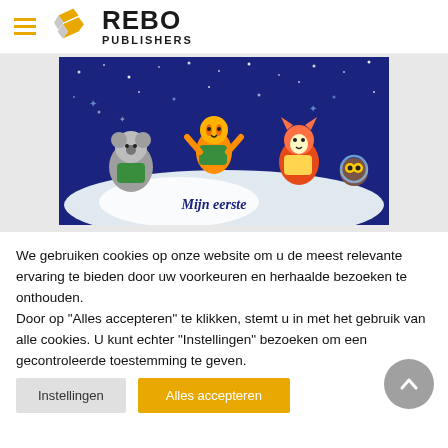[Figure (logo): Rebo Publishers logo with diamond/arrow shapes in black and yellow and bold text REBO PUBLISHERS]
[Figure (photo): Children's book cover showing cartoon animals (koala, tiger, fox, owl) on a dark blue starry night sky with text 'Mijn eerste']
We gebruiken cookies op onze website om u de meest relevante ervaring te bieden door uw voorkeuren en herhaalde bezoeken te onthouden.
Door op "Alles accepteren" te klikken, stemt u in met het gebruik van alle cookies. U kunt echter "Instellingen" bezoeken om een gecontroleerde toestemming te geven.
Instellingen
Alles accepteren